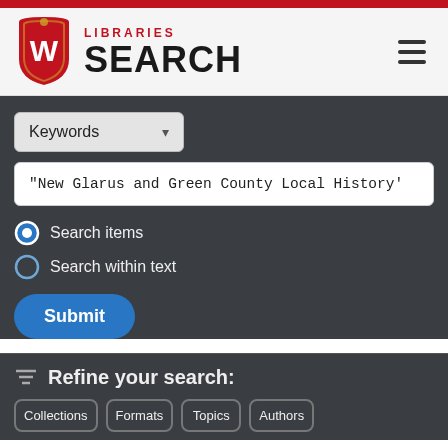[Figure (logo): UW Libraries Search logo with University of Wisconsin shield and text LIBRARIES SEARCH]
Keywords (dropdown selector)
"New Glarus and Green County Local History'
Search items (selected radio button)
Search within text (radio button)
Submit
Refine your search:
Collections | Formats | Topics | Authors